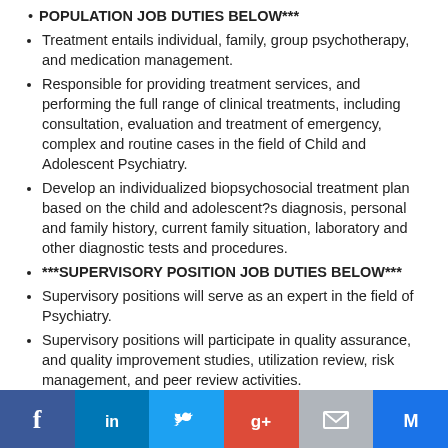POPULATION JOB DUTIES BELOW***
Treatment entails individual, family, group psychotherapy, and medication management.
Responsible for providing treatment services, and performing the full range of clinical treatments, including consultation, evaluation and treatment of emergency, complex and routine cases in the field of Child and Adolescent Psychiatry.
Develop an individualized biopsychosocial treatment plan based on the child and adolescent?s diagnosis, personal and family history, current family situation, laboratory and other diagnostic tests and procedures.
***SUPERVISORY POSITION JOB DUTIES BELOW***
Supervisory positions will serve as an expert in the field of Psychiatry.
Supervisory positions will participate in quality assurance, and quality improvement studies, utilization review, risk management, and peer review activities.
Supervisory positions will plan work to be accomplished
[Figure (other): Social media icon bar at bottom: Facebook, LinkedIn, Twitter, Google+, Email, and another icon]